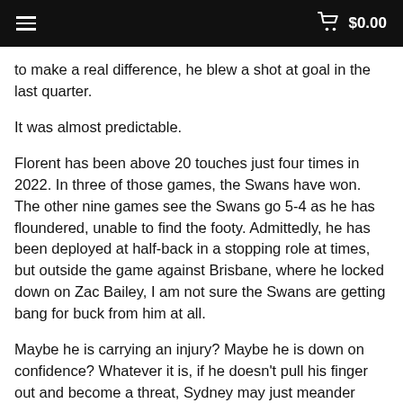≡  🛒 $0.00
to make a real difference, he blew a shot at goal in the last quarter.
It was almost predictable.
Florent has been above 20 touches just four times in 2022. In three of those games, the Swans have won. The other nine games see the Swans go 5-4 as he has floundered, unable to find the footy. Admittedly, he has been deployed at half-back in a stopping role at times, but outside the game against Brisbane, where he locked down on Zac Bailey, I am not sure the Swans are getting bang for buck from him at all.
Maybe he is carrying an injury? Maybe he is down on confidence? Whatever it is, if he doesn't pull his finger out and become a threat, Sydney may just meander through the rest of the season with a bloke who is sometimes a good player and sometimes… a battler.
And Florent is too good to be a battler.